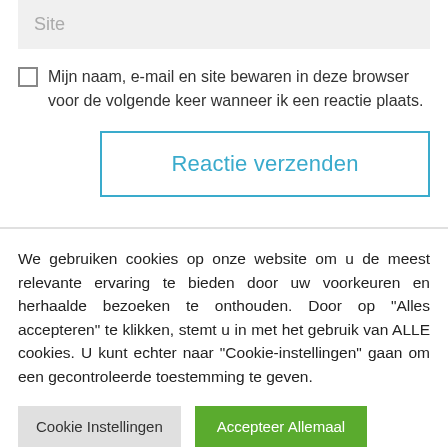Site
Mijn naam, e-mail en site bewaren in deze browser voor de volgende keer wanneer ik een reactie plaats.
Reactie verzenden
We gebruiken cookies op onze website om u de meest relevante ervaring te bieden door uw voorkeuren en herhaalde bezoeken te onthouden. Door op "Alles accepteren" te klikken, stemt u in met het gebruik van ALLE cookies. U kunt echter naar "Cookie-instellingen" gaan om een gecontroleerde toestemming te geven.
Cookie Instellingen
Accepteer Allemaal